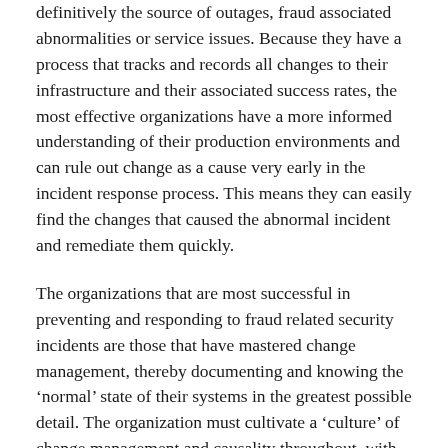definitively the source of outages, fraud associated abnormalities or service issues. Because they have a process that tracks and records all changes to their infrastructure and their associated success rates, the most effective organizations have a more informed understanding of their production environments and can rule out change as a cause very early in the incident response process. This means they can easily find the changes that caused the abnormal incident and remediate them quickly.
The organizations that are most successful in preventing and responding to fraud related security incidents are those that have mastered change management, thereby documenting and knowing the ‘normal’ state of their systems in the greatest possible detail. The organization must cultivate a ‘culture’ of change management and causality throughout, with zero tolerance for any unauthorized changes. As with any organizational culture, the culture of change management should start at the top,